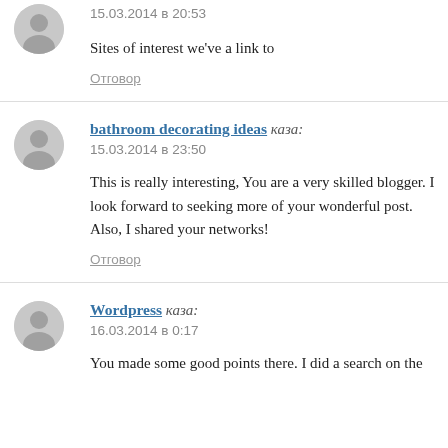15.03.2014 в 20:53
Sites of interest we've a link to
Отговор
bathroom decorating ideas каза:
15.03.2014 в 23:50
This is really interesting, You are a very skilled blogger. I look forward to seeking more of your wonderful post. Also, I shared your networks!
Отговор
Wordpress каза:
16.03.2014 в 0:17
You made some good points there. I did a search on the